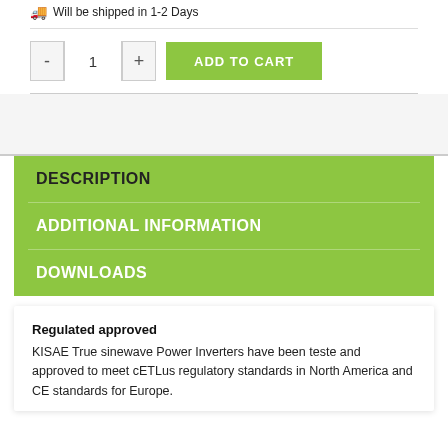Will be shipped in 1-2 Days
[Figure (screenshot): Add to cart UI with quantity selector (minus, 1, plus) and green ADD TO CART button]
DESCRIPTION
ADDITIONAL INFORMATION
DOWNLOADS
Regulated approved
KISAE True sinewave Power Inverters have been teste and approved to meet cETLus regulatory standards in North America and CE standards for Europe.